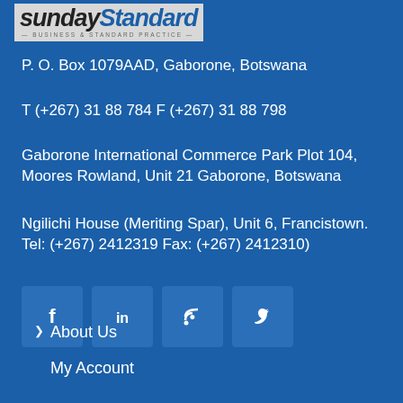[Figure (logo): Sunday Standard newspaper logo with italic bold text on grey background and tagline below]
P. O. Box 1079AAD, Gaborone, Botswana
T (+267) 31 88 784 F (+267) 31 88 798
Gaborone International Commerce Park Plot 104, Moores Rowland, Unit 21 Gaborone, Botswana
Ngilichi House (Meriting Spar), Unit 6, Francistown. Tel: (+267) 2412319 Fax: (+267) 2412310)
[Figure (infographic): Four social media icon boxes: Facebook (f), LinkedIn (in), RSS feed, Twitter bird]
About Us
My Account